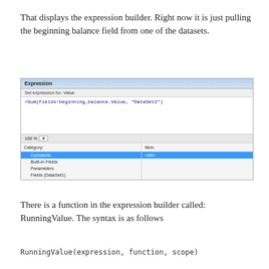That displays the expression builder. Right now it is just pulling the beginning balance field from one of the datasets.
[Figure (screenshot): Screenshot of an Expression Builder dialog showing the formula =Sum(Fields!beginning_balance.Value, "DataSet2") in the editor, with Category and Item panels below showing Constants selected and <All> highlighted.]
There is a function in the expression builder called: RunningValue. The syntax is as follows
RunningValue(expression, function, scope)